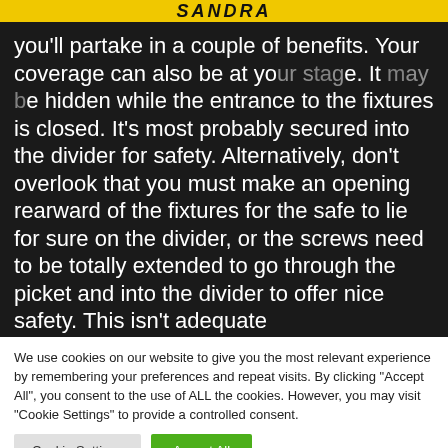SANDRA
you'll partake in a couple of benefits. Your coverage can also be at your stage. It may be hidden while the entrance to the fixtures is closed. It's most probably secured into the divider for safety. Alternatively, don't overlook that you must make an opening rearward of the fixtures for the safe to lie for sure on the divider, or the screws need to be totally extended to go through the picket and into the divider to offer nice safety. This isn't adequate
We use cookies on our website to give you the most relevant experience by remembering your preferences and repeat visits. By clicking "Accept All", you consent to the use of ALL the cookies. However, you may visit "Cookie Settings" to provide a controlled consent.
Cookie Settings
Accept All